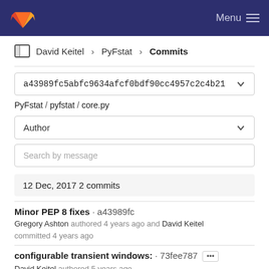Menu
David Keitel > PyFstat > Commits
a43989fc5abfc9634afcf0bdf90cc4957c2c4b21
PyFstat / pyfstat / core.py
Author
Search by message
12 Dec, 2017 2 commits
Minor PEP 8 fixes · a43989fc
Gregory Ashton authored 4 years ago and David Keitel committed 4 years ago
configurable transient windows: · 73fee787 ···
David Keitel authored 5 years ago